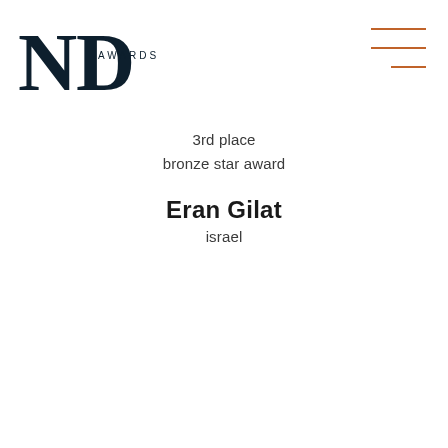[Figure (logo): ND Awards logo — large bold serif ND letters with a D that has a curved right side, 'AWARDS' in small caps below]
[Figure (other): Three horizontal orange lines forming a hamburger/menu icon, top-right corner]
3rd place
bronze star award
Eran Gilat
israel